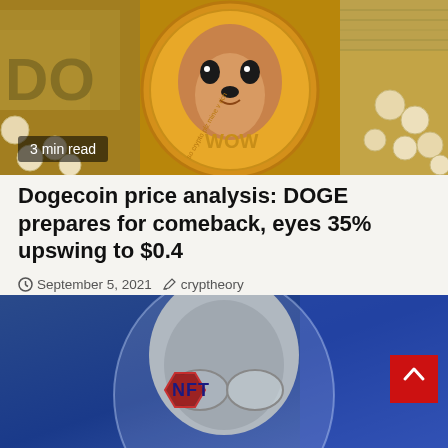[Figure (photo): Dogecoin gold coin with WOW inscription surrounded by pearls and dollar bills]
3 min read
Dogecoin price analysis: DOGE prepares for comeback, eyes 35% upswing to $0.4
September 5, 2021  cryptheory
[Figure (photo): Person wearing glasses reflected with NFT holographic badge on blue background]